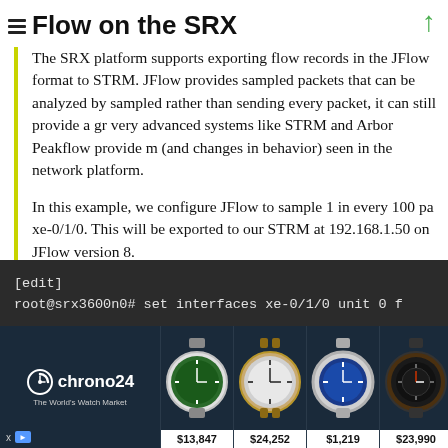Flow on the SRX
The SRX platform supports exporting flow records in the JFlow format to STRM. JFlow provides sampled packets that can be analyzed by sampled rather than sending every packet, it can still provide a great very advanced systems like STRM and Arbor Peakflow provide (and changes in behavior) seen in the network platform.
In this example, we configure JFlow to sample 1 in every 100 packets on xe-0/1/0. This will be exported to our STRM at 192.168.1.50 on JFlow version 8.
[edit]
root@srx3600n0# set interfaces xe-0/1/0 unit 0 f
[Figure (screenshot): Chrono24 watch advertisement banner showing logo and four watch images with prices: $13,847, $24,252, $1,219, $23,990]